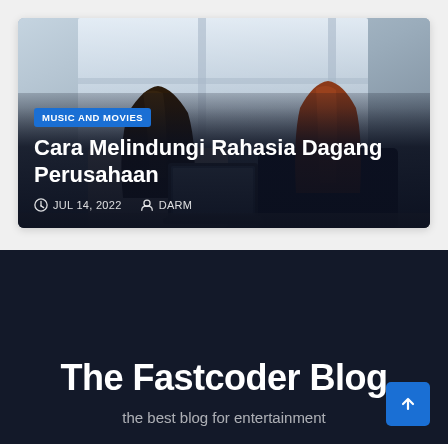[Figure (photo): Two women sitting at a desk, one with dark hair and one with reddish-brown hair, working on a laptop near a window]
MUSIC AND MOVIES
Cara Melindungi Rahasia Dagang Perusahaan
JUL 14, 2022   DARM
The Fastcoder Blog
the best blog for entertainment